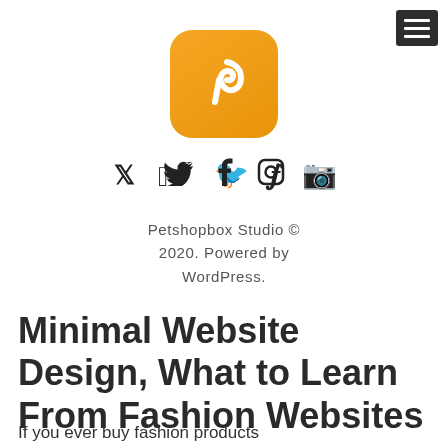[Figure (logo): Orange rounded square logo with white cursive P letter — Petshopbox Studio logo]
[Figure (infographic): Three social media icons: Twitter bird, Facebook f, Instagram camera]
Petshopbox Studio © 2020. Powered by WordPress.
Minimal Website Design, What to Learn From Fashion Websites
If you ever buy fashion products online, you may have (or may not)